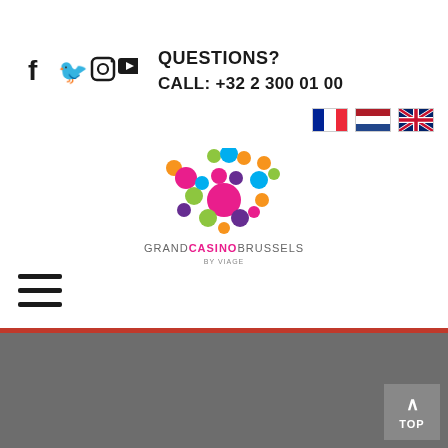[Figure (illustration): Social media icons: Facebook (f), Twitter (bird), Instagram (camera), YouTube (play button)]
QUESTIONS?
CALL: +32 2 300 01 00
[Figure (illustration): Language selection flags: French flag, Dutch/Netherlands flag, UK/English flag]
[Figure (logo): Grand Casino Brussels by Viage logo - colorful dots forming a V shape above text GRANDCASINOBRUSSELS by viage]
[Figure (illustration): Hamburger menu icon (three horizontal lines)]
[Figure (illustration): TOP button with upward arrow in grey square, bottom right corner]